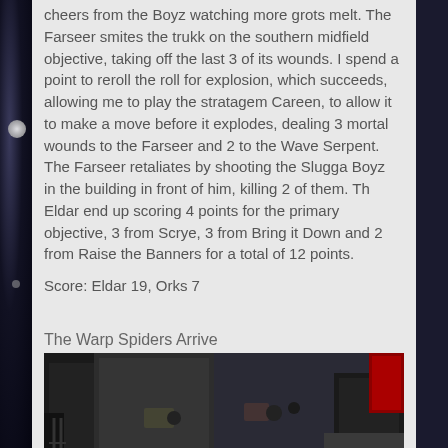cheers from the Boyz watching more grots melt. The Farseer smites the trukk on the southern midfield objective, taking off the last 3 of its wounds. I spend a point to reroll the roll for explosion, which succeeds, allowing me to play the stratagem Careen, to allow it to make a move before it explodes, dealing 3 mortal wounds to the Farseer and 2 to the Wave Serpent. The Farseer retaliates by shooting the Slugga Boyz in the building in front of him, killing 2 of them. Th Eldar end up scoring 4 points for the primary objective, 3 from Scrye, 3 from Bring it Down and 2 from Raise the Banners for a total of 12 points.
Score: Eldar 19, Orks 7
The Warp Spiders Arrive
[Figure (photo): A tabletop wargaming scene showing miniature figures on a detailed urban battlefield with stone-paved streets, dark gothic buildings, and a green glowing circular base with yellow/green Space Elf (Warp Spider) miniatures in the center.]